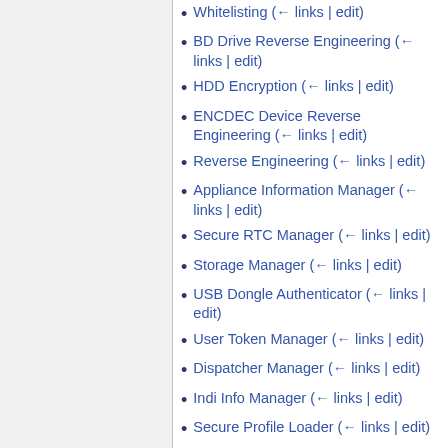Whitelisting  (← links | edit)
BD Drive Reverse Engineering  (← links | edit)
HDD Encryption  (← links | edit)
ENCDEC Device Reverse Engineering  (← links | edit)
Reverse Engineering  (← links | edit)
Appliance Information Manager  (← links | edit)
Secure RTC Manager  (← links | edit)
Storage Manager  (← links | edit)
USB Dongle Authenticator  (← links | edit)
User Token Manager  (← links | edit)
Dispatcher Manager  (← links | edit)
Indi Info Manager  (← links | edit)
Secure Profile Loader  (← links | edit)
Secure LPAR Loader  (← links | edit)
Security Policy Manager  (← links |